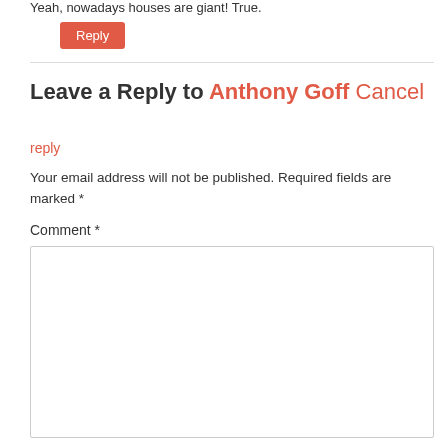Yeah, nowadays houses are giant! True.
Reply
Leave a Reply to Anthony Goff Cancel reply
cancel reply
Your email address will not be published. Required fields are marked *
Comment *